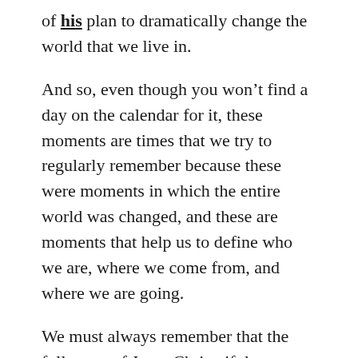of his plan to dramatically change the world that we live in.
And so, even though you won’t find a day on the calendar for it, these moments are times that we try to regularly remember because these were moments in which the entire world was changed, and these are moments that help us to define who we are, where we come from, and where we are going.
We must always remember that the followers of Jesus Christ, if they are known by anything at all, are to be remembered by how much they love.  Every decision that we make, both within the church and outside of it, should be